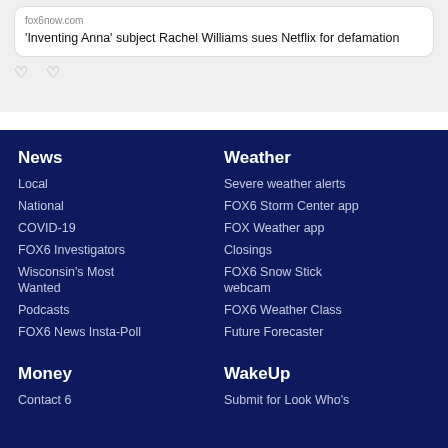fox6now.com
'Inventing Anna' subject Rachel Williams sues Netflix for defamation
News
Local
National
COVID-19
FOX6 Investigators
Wisconsin's Most Wanted
Podcasts
FOX6 News Insta-Poll
Weather
Severe weather alerts
FOX6 Storm Center app
FOX Weather app
Closings
FOX6 Snow Stick webcam
FOX6 Weather Class
Future Forecaster
Money
Contact 6
WakeUp
Submit for Look Who's